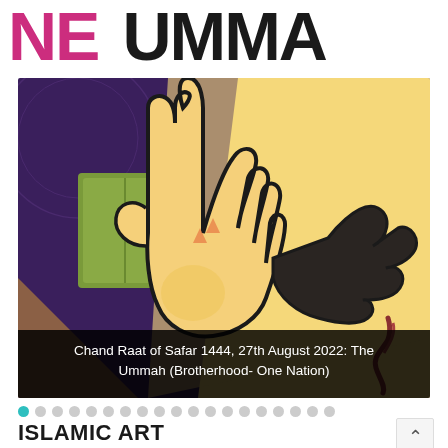NE UMMA
[Figure (illustration): Colorful illustration showing multiple hands clasped together in unity, with a dark purple geometric background and warm yellow/orange tones. Depicts brotherhood and unity theme.]
Chand Raat of Safar 1444, 27th August 2022: The Ummah (Brotherhood- One Nation)
ISLAMIC ART